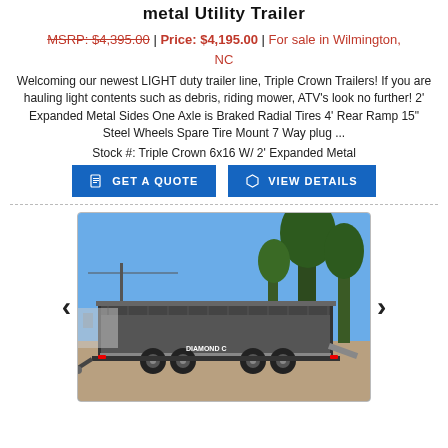metal Utility Trailer
MSRP: $4,395.00 | Price: $4,195.00 | For sale in Wilmington, NC
Welcoming our newest LIGHT duty trailer line, Triple Crown Trailers! If you are hauling light contents such as debris, riding mower, ATV's look no further! 2' Expanded Metal Sides One Axle is Braked Radial Tires 4' Rear Ramp 15" Steel Wheels Spare Tire Mount 7 Way plug ...
Stock #: Triple Crown 6x16 W/ 2' Expanded Metal
[Figure (photo): Photo of a dark-colored utility trailer with expanded metal sides, parked on gravel with trees and a blue sky in the background. The trailer has dual axles and a rear ramp. A 'Diamond C' logo is visible on the trailer.]